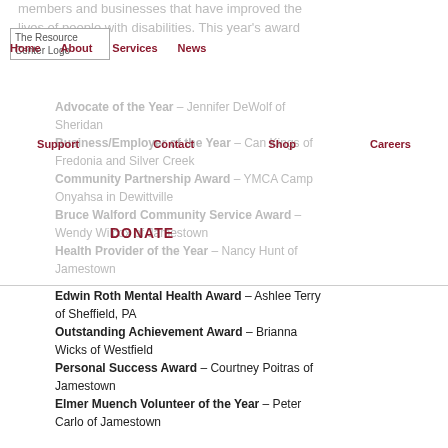[Figure (logo): The Resource Center Logo]
Home   About   Services   News
members and businesses that have improved the lives of people with disabilities. This year's award recipients are:
Advocate of the Year – Jennifer DeWolf of Sheridan
Business/Employer of the Year – Can Kings of Fredonia and Silver Creek
Community Partnership Award – YMCA Camp Onyahsa in Dewittville
Bruce Walford Community Service Award – Wendy Wilcox of Jamestown
Health Provider of the Year – Nancy Hunt of Jamestown
Support   Contact   Shop   Careers
DONATE
Edwin Roth Mental Health Award – Ashlee Terry of Sheffield, PA
Outstanding Achievement Award – Brianna Wicks of Westfield
Personal Success Award – Courtney Poitras of Jamestown
Elmer Muench Volunteer of the Year – Peter Carlo of Jamestown